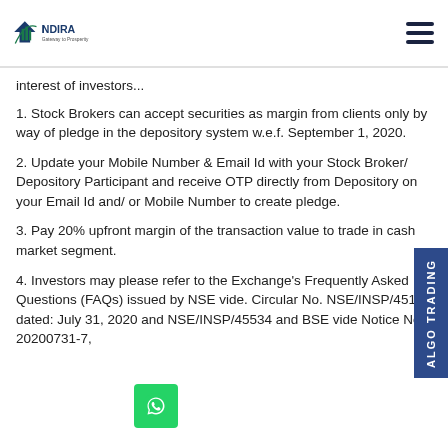INDIRA - Gateway to Prosperity
interest of investors...
1. Stock Brokers can accept securities as margin from clients only by way of pledge in the depository system w.e.f. September 1, 2020.
2. Update your Mobile Number & Email Id with your Stock Broker/ Depository Participant and receive OTP directly from Depository on your Email Id and/ or Mobile Number to create pledge.
3. Pay 20% upfront margin of the transaction value to trade in cash market segment.
4. Investors may please refer to the Exchange's Frequently Asked Questions (FAQs) issued by NSE vide. Circular No. NSE/INSP/45191 dated: July 31, 2020 and NSE/INSP/45534 and BSE vide Notice No. 20200731-7,